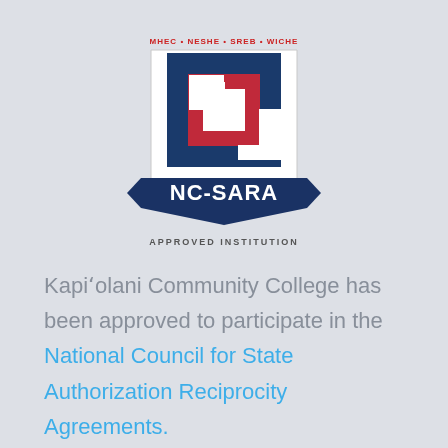[Figure (logo): NC-SARA Approved Institution shield logo with MHEC, NESHE, SREB, WICHE text above]
Kapiʻolani Community College has been approved to participate in the National Council for State Authorization Reciprocity Agreements.